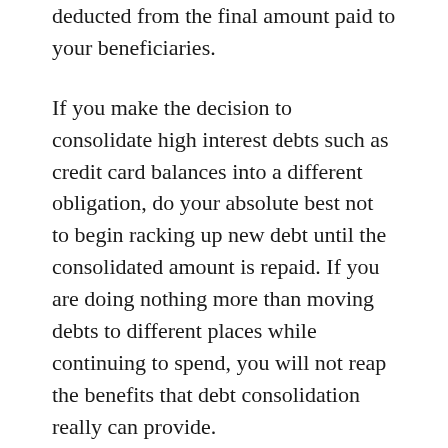deducted from the final amount paid to your beneficiaries.
If you make the decision to consolidate high interest debts such as credit card balances into a different obligation, do your absolute best not to begin racking up new debt until the consolidated amount is repaid. If you are doing nothing more than moving debts to different places while continuing to spend, you will not reap the benefits that debt consolidation really can provide.
With the current low home mortgage interest rates, you may be able to refinance your home and take out some of the equity. Be careful to avoid borrowing as much as possible on your